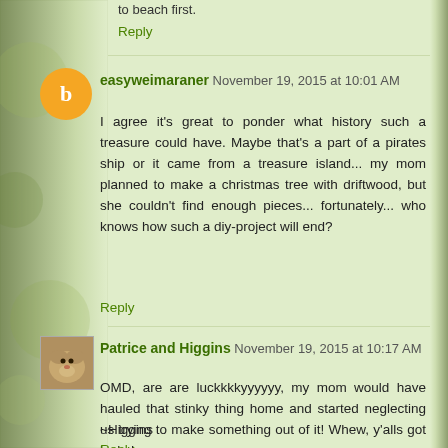to beach first.
Reply
easyweimaraner November 19, 2015 at 10:01 AM
I agree it's great to ponder what history such a treasure could have. Maybe that's a part of a pirates ship or it came from a treasure island... my mom planned to make a christmas tree with driftwood, but she couldn't find enough pieces... fortunately... who knows how such a diy-project will end?
Reply
Patrice and Higgins November 19, 2015 at 10:17 AM
OMD, are are luckkkkyyyyyy, my mom would have hauled that stinky thing home and started neglecting us trying to make something out of it! Whew, y'alls got lucky!
~Higgins
Reply